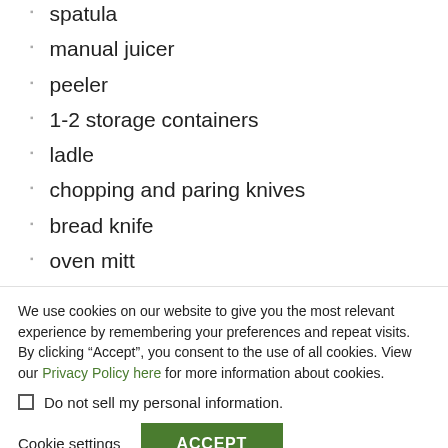spatula
manual juicer
peeler
1-2 storage containers
ladle
chopping and paring knives
bread knife
oven mitt
We use cookies on our website to give you the most relevant experience by remembering your preferences and repeat visits. By clicking “Accept”, you consent to the use of all cookies. View our Privacy Policy here for more information about cookies.
Do not sell my personal information.
Cookie settings
ACCEPT